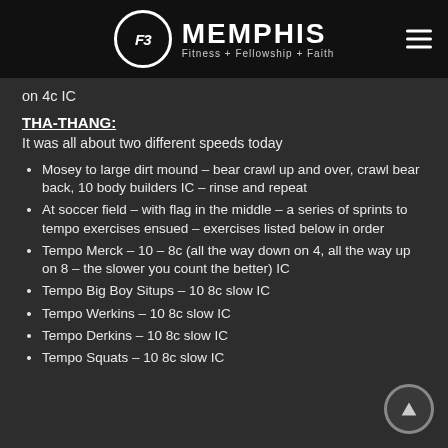F3 MEMPHIS Fitness + Fellowship + Faith
on 4c IC
THA-THANG:
It was all about two different speeds today
Mosey to large dirt mound – bear crawl up and over, crawl bear back, 10 body builders IC – rinse and repeat
At soccer field – with flag in the middle – a series of sprints to tempo exercises ensued – exercises listed below in order
Tempo Merck – 10 – 8c (all the way down on 4, all the way up on 8 – the slower you count the better) IC
Tempo Big Boy Situps – 10 8c slow IC
Tempo Werkins – 10 8c slow IC
Tempo Derkins – 10 8c slow IC
Tempo Squats – 10 8c slow IC